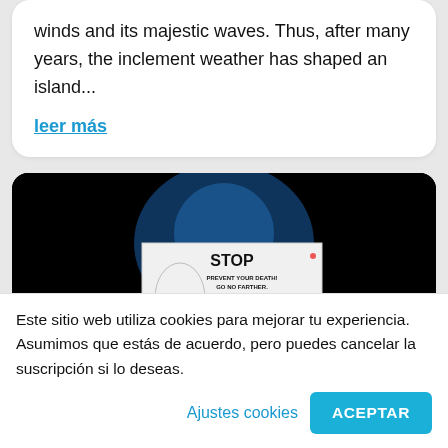winds and its majestic waves. Thus, after many years, the inclement weather has shaped an island...
leer más
[Figure (photo): A warning sign at night reading 'STOP PREVENT YOUR DEATH! GO NO FARTHER' with facts listed below, against a dark background with blue light]
Este sitio web utiliza cookies para mejorar tu experiencia. Asumimos que estás de acuerdo, pero puedes cancelar la suscripción si lo deseas.
Ajustes cookies
ACEPTAR